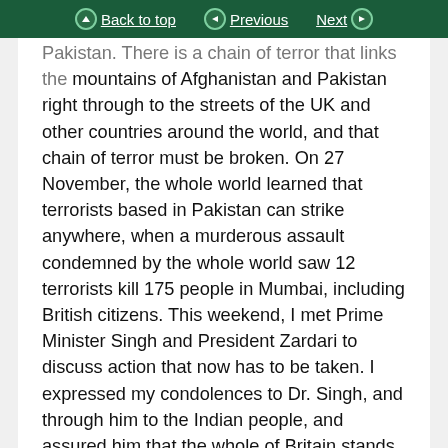Back to top | Previous | Next
Pakistan. There is a chain of terror that links the mountains of Afghanistan and Pakistan right through to the streets of the UK and other countries around the world, and that chain of terror must be broken. On 27 November, the whole world learned that terrorists based in Pakistan can strike anywhere, when a murderous assault condemned by the whole world saw 12 terrorists kill 175 people in Mumbai, including British citizens. This weekend, I met Prime Minister Singh and President Zardari to discuss action that now has to be taken. I expressed my condolences to Dr. Singh, and through him to the Indian people, and assured him that the whole of Britain stands fully alongside India in its determination to see those responsible brought to justice.